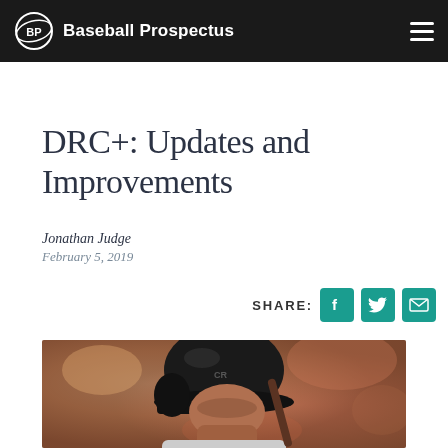Baseball Prospectus
DRC+: Updates and Improvements
Jonathan Judge
February 5, 2019
SHARE:
[Figure (photo): Baseball player wearing a black batting helmet with the Colorado Rockies logo, holding a bat, photographed close-up with a blurred orange/brown background]